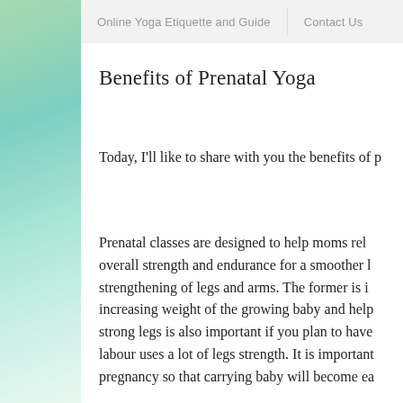Online Yoga Etiquette and Guide | Contact Us
Benefits of Prenatal Yoga
Today, I'll like to share with you the benefits of p...
Prenatal classes are designed to help moms rel... overall strength and endurance for a smoother l... strengthening of legs and arms. The former is i... increasing weight of the growing baby and help... strong legs is also important if you plan to have... labour uses a lot of legs strength. It is important... pregnancy so that carrying baby will become ea...